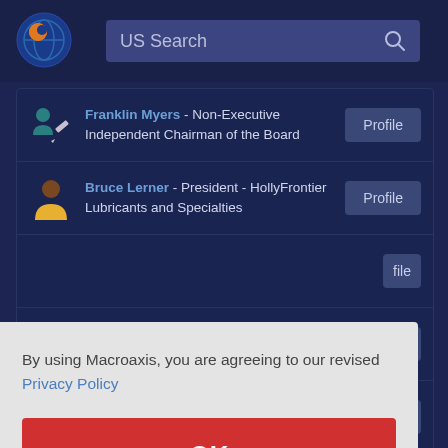[Figure (screenshot): Macroaxis website header with logo and US Search bar]
Franklin Myers - Non-Executive Independent Chairman of the Board
Bruce Lerner - President - HollyFrontier Lubricants and Specialties
By using Macroaxis, you are agreeing to our revised Privacy Policy
OK
Secretary